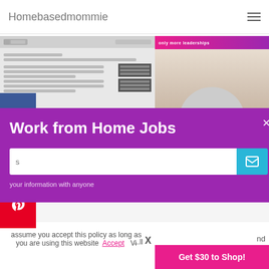Homebaseadmommie
[Figure (screenshot): Screenshot of a website interface, appears to be a virtual assistant or form page]
[Figure (photo): Person sitting with laptop on lap, viewed from above]
nbridge – Non phone k at home job with Test
Work at home Data Entry Jobs at Lionbridge
November 16, 2015
[Figure (screenshot): Popup modal overlay with purple background showing Work from Home Jobs email signup form]
Work from Home Jobs
your information with anyone
assume you accept this policy as long as you are using this website
Accept
Get $30 to Shop!